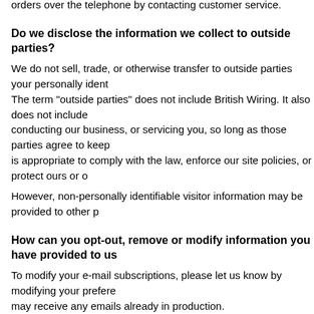orders over the telephone by contacting customer service.
Do we disclose the information we collect to outside parties?
We do not sell, trade, or otherwise transfer to outside parties your personally ident... The term "outside parties" does not include British Wiring. It also does not include... conducting our business, or servicing you, so long as those parties agree to keep... is appropriate to comply with the law, enforce our site policies, or protect ours or o...
However, non-personally identifiable visitor information may be provided to other p...
How can you opt-out, remove or modify information you have provided to us...
To modify your e-mail subscriptions, please let us know by modifying your prefere... may receive any emails already in production.
To delete all of your online account information from our database, sign into the "M... payment information. Please note that we may maintain information about an indiv...
Third party links
In an attempt to provide you with increased value, we may include third party links... therefore have no responsibility or liability for the content and activities of these lin... feedback about these linked sites (including if a specific link does not work).
Changes to our policy
If we decide to change our privacy policy, we will post those changes on this page... policy was last modified on August 6, 2012.